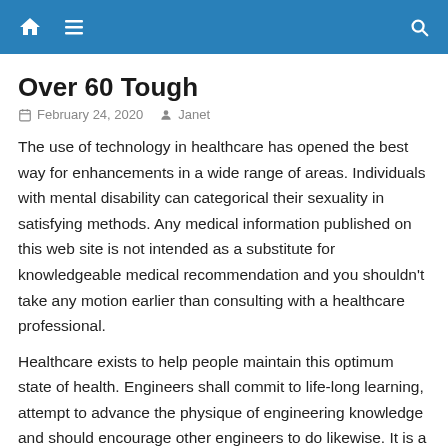Navigation bar with home icon, menu icon, and search icon
Over 60 Tough
February 24, 2020   Janet
The use of technology in healthcare has opened the best way for enhancements in a wide range of areas. Individuals with mental disability can categorical their sexuality in satisfying methods. Any medical information published on this web site is not intended as a substitute for knowledgeable medical recommendation and you shouldn't take any motion earlier than consulting with a healthcare professional.
Healthcare exists to help people maintain this optimum state of health. Engineers shall commit to life-long learning, attempt to advance the physique of engineering knowledge and should encourage other engineers to do likewise. It is a sexually transmissible an infection (STI) in adults as it may be spread by skin-to-pores and skin contact, during sexual contact.